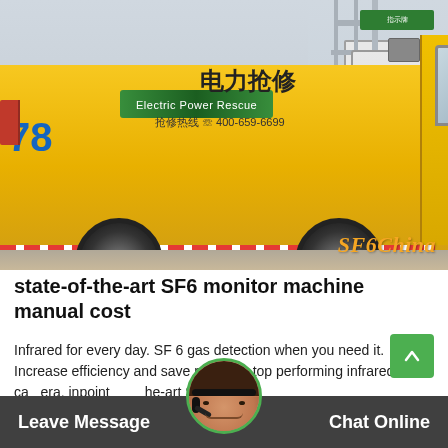[Figure (photo): Yellow Chinese electric power repair truck parked at an electrical substation. The truck has Chinese text and a green banner reading 'Electric Power Rescue'. A phone number '400-659-6699' is visible. The number '78' appears in blue on the truck cab. A watermark 'SF6China' appears in orange in the lower right of the photo.]
state-of-the-art SF6 monitor machine manual cost
Infrared for every day. SF 6 gas detection when you need it. Increase efficiency and save money with a top performing infrared camera, pinpointing the state-of-the-art SF
Leave Message                                        Chat Online